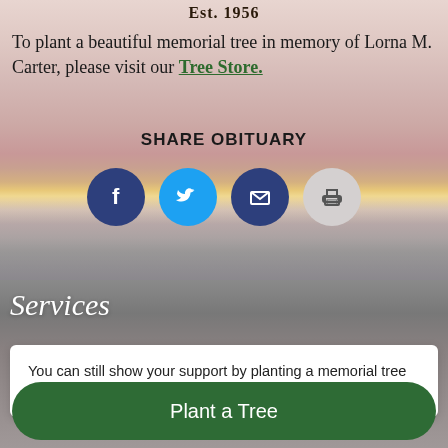Est. 1956
To plant a beautiful memorial tree in memory of Lorna M. Carter, please visit our Tree Store.
SHARE OBITUARY
[Figure (infographic): Four social sharing icons: Facebook (dark blue circle with f), Twitter (light blue circle with bird), Email (dark blue circle with envelope), Print (light gray circle with printer icon)]
Services
You can still show your support by planting a memorial tree in the memory of Lorna M. Carter.
Plant a Tree